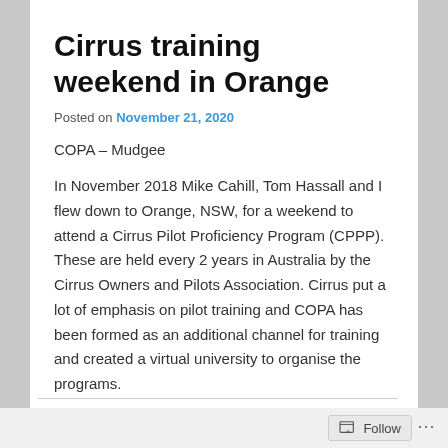Cirrus training weekend in Orange
Posted on November 21, 2020
COPA – Mudgee
In November 2018 Mike Cahill, Tom Hassall and I flew down to Orange, NSW, for a weekend to attend a Cirrus Pilot Proficiency Program (CPPP). These are held every 2 years in Australia by the Cirrus Owners and Pilots Association. Cirrus put a lot of emphasis on pilot training and COPA has been formed as an additional channel for training and created a virtual university to organise the programs.
Follow